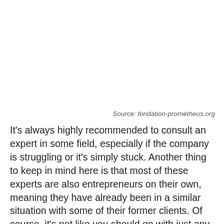Source: fondation-prometheus.org
It's always highly recommended to consult an expert in some field, especially if the company is struggling or it's simply stuck. Another thing to keep in mind here is that most of these experts are also entrepreneurs on their own, meaning they have already been in a similar situation with some of their former clients. Of course, it's not like you should go with just any business growth consultant, as what you really want is to find the one that has vast experience in the same field as yours. Trusting your firm to someone is never easy, but that's also why it's of vast importance to go with a renowned one, like